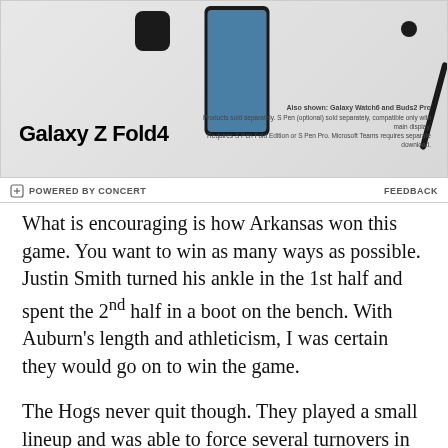[Figure (photo): Samsung Galaxy Z Fold4 advertisement showing the phone, Galaxy Watch6, Buds2 Pro, and S Pen. Text reads 'Galaxy Z Fold4' with disclaimer 'Also shown: Galaxy Watch6 and Buds2 Pro. Products sold separately. S Pen (optional) sold separately, compatible only with main display. Requires S Pen Fold Edition or S Pen Pro. Microsoft Teams requires separate download.']
POWERED BY CONCERT   FEEDBACK
What is encouraging is how Arkansas won this game. You want to win as many ways as possible. Justin Smith turned his ankle in the 1st half and spent the 2nd half in a boot on the bench. With Auburn’s length and athleticism, I was certain they would go on to win the game.
The Hogs never quit though. They played a small lineup and was able to force several turnovers in the final 10 minutes of the game.
Where Eric Musselman pushed the right buttons tonight was with 6:55 to go. Jalen Tate picked up his